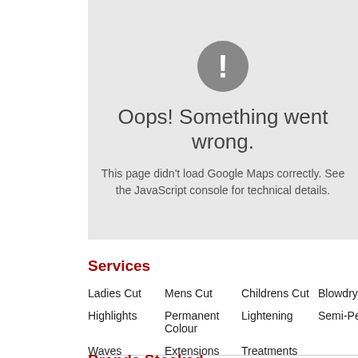[Figure (screenshot): Google Maps error panel with grey background, exclamation icon in grey circle, heading 'Oops! Something went wrong.' and body text 'This page didn't load Google Maps correctly. See the JavaScript console for technical details.']
Services
Ladies Cut
Mens Cut
Childrens Cut
Blowdry
Highlights
Permanent Colour
Lightening
Semi-Pe
Waves
Extensions
Treatments
Brands Stocked